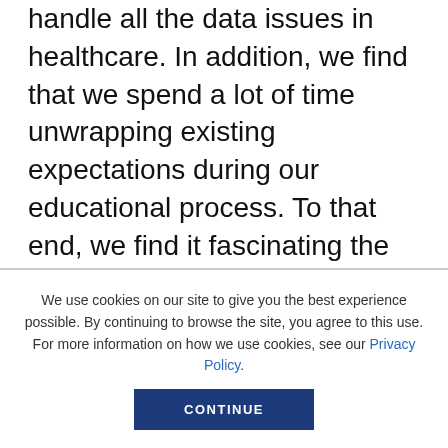handle all the data issues in healthcare. In addition, we find that we spend a lot of time unwrapping existing expectations during our educational process. To that end, we find it fascinating the increasing desire to understand how blockchain works. We havent seen a similar desire for understanding how the cloud works for example
We use cookies on our site to give you the best experience possible. By continuing to browse the site, you agree to this use. For more information on how we use cookies, see our Privacy Policy.
CONTINUE